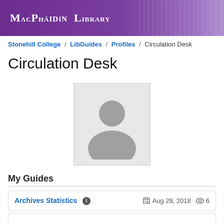MacPháidín Library
Stonehill College / LibGuides / Profiles / Circulation Desk
Circulation Desk
[Figure (illustration): Generic placeholder profile photo: grey background box with silhouette of a person (circle head and rounded shoulders in darker grey)]
My Guides
Archives Statistics  Aug 29, 2018  6